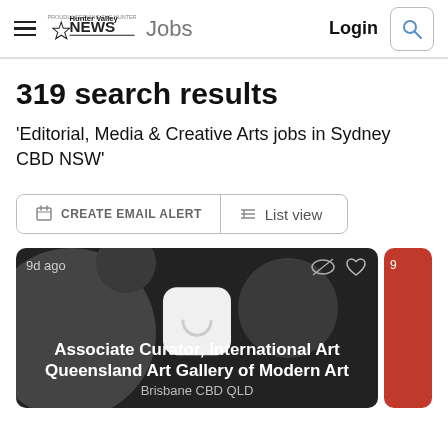Hunter Valley NEWS Jobs | Login
319 search results
'Editorial, Media & Creative Arts jobs in Sydney CBD NSW'
CREATE EMAIL ALERT | List view
[Figure (screenshot): Job listing card for 'Associate Curator, International Art' at Queensland Art Gallery of Modern Art, Brisbane CBD QLD, posted 9d ago, on dark background with loading spinner icon]
Associate Curator, International Art
Queensland Art Gallery of Modern Art
Brisbane CBD QLD